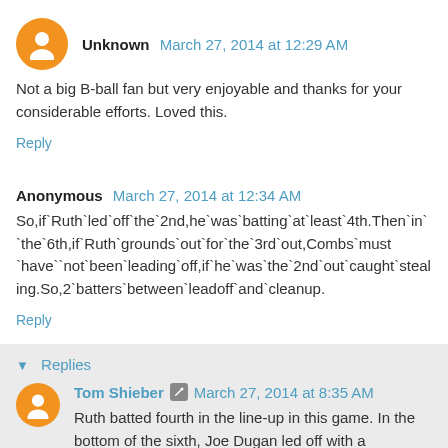Unknown March 27, 2014 at 12:29 AM
Not a big B-ball fan but very enjoyable and thanks for your considerable efforts. Loved this.
Reply
Anonymous March 27, 2014 at 12:34 AM
So,if`Ruth`led`off`the`2nd,he`was`batting`at`least`4th.Then` in``the`6th,if`Ruth`grounds`out`for`the`3rd`out,Combs`must `have``not`been`leading`off,if`he`was`the`2nd`out`caught`stealing.So,2`batters`between`leadoff`and`cleanup.
Reply
Replies
Tom Shieber March 27, 2014 at 8:35 AM
Ruth batted fourth in the line-up in this game. In the bottom of the sixth, Joe Dugan led off with a